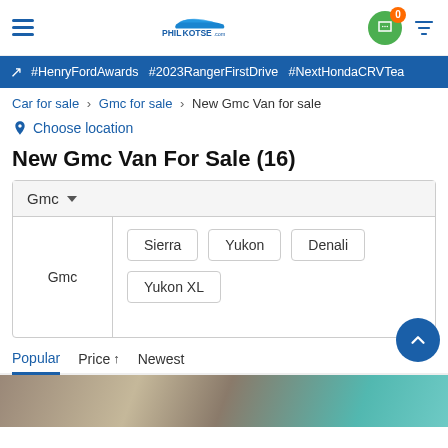PHILKOTSE.com
#HenryFordAwards #2023RangerFirstDrive #NextHondaCRVTea
Car for sale > Gmc for sale > New Gmc Van for sale
Choose location
New Gmc Van For Sale (16)
| Brand | Models |
| --- | --- |
| Gmc | Sierra, Yukon, Denali, Yukon XL |
Popular  Price ↑  Newest